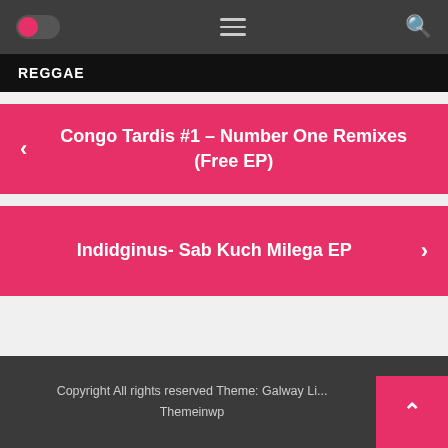Header navigation bar with toggle, menu, and search icons
REGGAE
Congo Tardis #1 – Number One Remixes (Free EP)
Indidginus- Sab Kuch Milega EP
Copyright All rights reserved Theme: Galway Li... Themeinwp